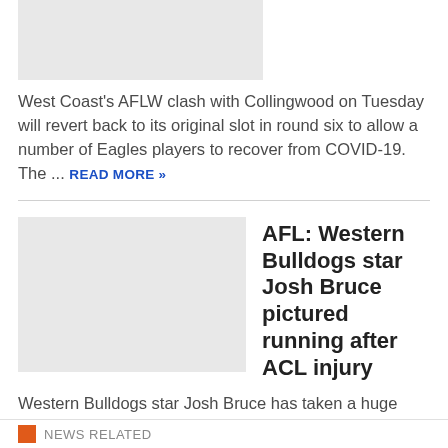[Figure (photo): Placeholder image for West Coast AFLW article]
West Coast's AFLW clash with Collingwood on Tuesday will revert back to its original slot in round six to allow a number of Eagles players to recover from COVID-19. The ... READ MORE »
[Figure (photo): Placeholder image for Western Bulldogs Josh Bruce article]
AFL: Western Bulldogs star Josh Bruce pictured running after ACL injury
Western Bulldogs star Josh Bruce has taken a huge step on the road to recovery from his heartbreaking ACL injury by running at training for the first time this week. ... READ MORE »